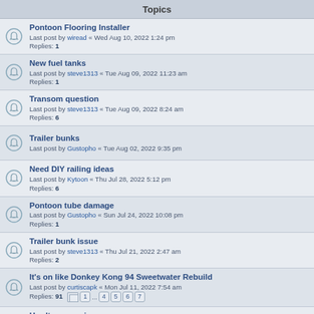Topics
Pontoon Flooring Installer
Last post by wiread « Wed Aug 10, 2022 1:24 pm
Replies: 1
New fuel tanks
Last post by steve1313 « Tue Aug 09, 2022 11:23 am
Replies: 1
Transom question
Last post by steve1313 « Tue Aug 09, 2022 8:24 am
Replies: 6
Trailer bunks
Last post by Gustopho « Tue Aug 02, 2022 9:35 pm
Need DIY railing ideas
Last post by Kytoon « Thu Jul 28, 2022 5:12 pm
Replies: 6
Pontoon tube damage
Last post by Gustopho « Sun Jul 24, 2022 10:08 pm
Replies: 1
Trailer bunk issue
Last post by steve1313 « Thu Jul 21, 2022 2:47 am
Replies: 2
It's on like Donkey Kong 94 Sweetwater Rebuild
Last post by curtiscapk « Mon Jul 11, 2022 7:54 am
Replies: 91 [pages 1 ... 4 5 6 7]
Hardtop covering
Last post by New at This « Sat Jul 09, 2022 12:36 pm
Replies: 1
Trailer bunk issue (partial, cut off)